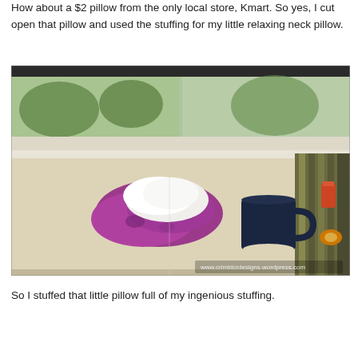How about a $2 pillow from the only local store, Kmart. So yes, I cut open that pillow and used the stuffing for my little relaxing neck pillow.
[Figure (photo): A photograph showing a small handmade neck pillow with purple floral fabric and white stuffing sitting on a light wooden table near a window. A dark navy mug is placed beside it on the table. A striped fabric and some office supplies are visible to the right. Trees are visible through the window in the background. A watermark reads www.crimblcrdesigns.wordpress.com]
So I stuffed that little pillow full of my ingenious stuffing.